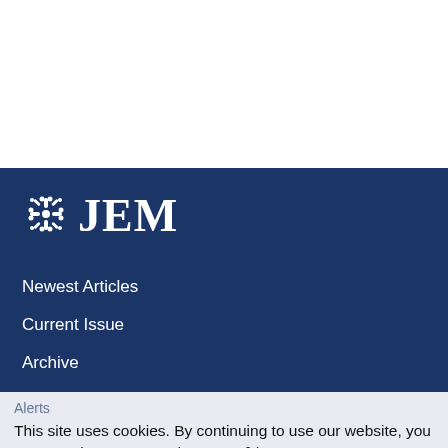[Figure (logo): JEM journal logo with snowflake/molecule icon on dark navy background]
Newest Articles
Current Issue
Archive
Alerts
This site uses cookies. By continuing to use our website, you are agreeing to our privacy policy.
Accept
Submit a Manuscript
Instructions for Authors
For Librarians